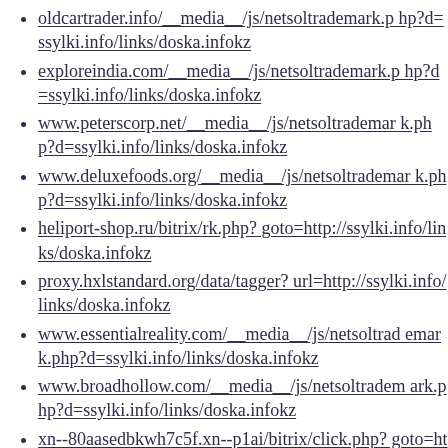oldcartrader.info/__media__/js/netsoltrademark.php?d=ssylki.info/links/doska.infokz
exploreindia.com/__media__/js/netsoltrademark.php?d=ssylki.info/links/doska.infokz
www.peterscorp.net/__media__/js/netsoltrademark.php?d=ssylki.info/links/doska.infokz
www.deluxefoods.org/__media__/js/netsoltrademark.php?d=ssylki.info/links/doska.infokz
heliport-shop.ru/bitrix/rk.php?goto=http://ssylki.info/links/doska.infokz
proxy.hxlstandard.org/data/tagger?url=http://ssylki.info/links/doska.infokz
www.essentialreality.com/__media__/js/netsoltrademark.php?d=ssylki.info/links/doska.infokz
www.broadhollow.com/__media__/js/netsoltrademark.php?d=ssylki.info/links/doska.infokz
xn--80aasedbkwh7c5f.xn--p1ai/bitrix/click.php?goto=http://ssylki.info/links/doska.infokz
anfios.com/__media__/js/netsoltrademark.php?